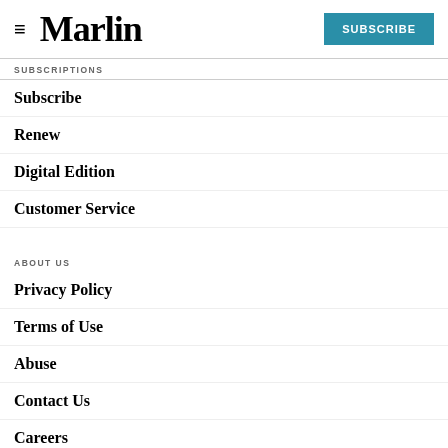Marlin | SUBSCRIBE
SUBSCRIPTIONS
Subscribe
Renew
Digital Edition
Customer Service
ABOUT US
Privacy Policy
Terms of Use
Abuse
Contact Us
Careers